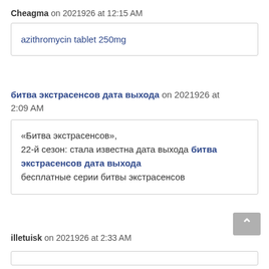Cheagma on 2021​9​26​ at 12:15 AM
azithromycin tablet 250mg
битва экстрасенсов дата выхода on 2021​9​26​ at 2:09 AM
«Битва экстрасенсов»,
22-й сезон: стала известна дата выхода битва экстрасенсов дата выхода
бесплатные серии битвы экстрасенсов
illetuisk on 2021​9​26​ at 2:33 AM